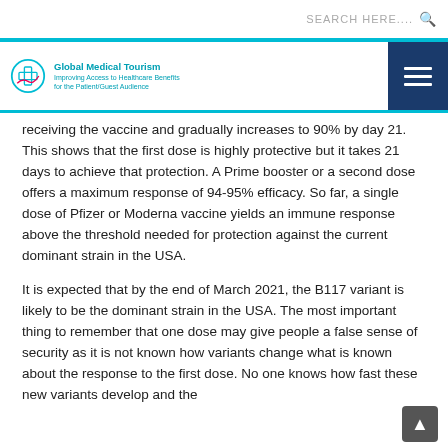SEARCH HERE....
[Figure (logo): Global Medical Tourism logo with circular icon and teal text]
receiving the vaccine and gradually increases to 90% by day 21. This shows that the first dose is highly protective but it takes 21 days to achieve that protection. A Prime booster or a second dose offers a maximum response of 94-95% efficacy. So far, a single dose of Pfizer or Moderna vaccine yields an immune response above the threshold needed for protection against the current dominant strain in the USA.
It is expected that by the end of March 2021, the B117 variant is likely to be the dominant strain in the USA. The most important thing to remember that one dose may give people a false sense of security as it is not known how variants change what is known about the response to the first dose. No one knows how fast these new variants develop and the